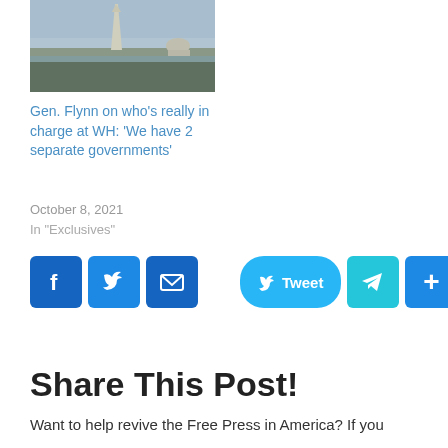[Figure (photo): Aerial/skyline view of Washington DC showing the Washington Monument and Capitol dome]
Gen. Flynn on who's really in charge at WH: 'We have 2 separate governments'
October 8, 2021
In "Exclusives"
[Figure (infographic): Social share buttons: Facebook, Twitter, Mail icons, Tweet button, Telegram, and plus/share button]
Share This Post!
Want to help revive the Free Press in America? If you